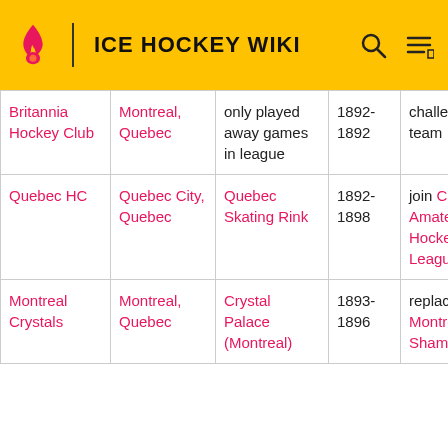ICE HOCKEY WIKI
| Club | Location | Arena | Years | Notes |
| --- | --- | --- | --- | --- |
| Britannia Hockey Club | Montreal, Quebec | only played away games in league | 1892-1892 | challen… team |
| Quebec HC | Quebec City, Quebec | Quebec Skating Rink | 1892-1898 | join Canadian Amateur Hockey League |
| Montreal Crystals | Montreal, Quebec | Crystal Palace (Montreal) | 1893-1896 | replaced by Montreal Shamro… mid- |